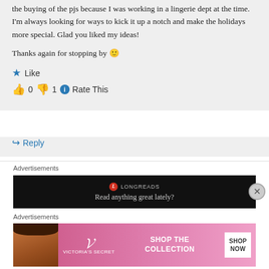the buying of the pjs because I was working in a lingerie dept at the time. I'm always looking for ways to kick it up a notch and make the holidays more special. Glad you liked my ideas!
Thanks again for stopping by 🙂
★ Like
👍 0 👎 1 ℹ Rate This
↪ Reply
Advertisements
[Figure (screenshot): Longreads advertisement banner on black background: red circle L logo, 'LONGREADS', 'Read anything great lately?']
Advertisements
[Figure (screenshot): Victoria's Secret advertisement on pink gradient background with woman's face, VS logo, 'SHOP THE COLLECTION', 'SHOP NOW' white button]